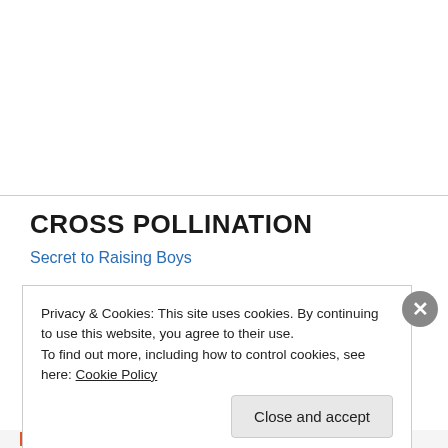CROSS POLLINATION
Secret to Raising Boys
Privacy & Cookies: This site uses cookies. By continuing to use this website, you agree to their use.
To find out more, including how to control cookies, see here: Cookie Policy
Close and accept